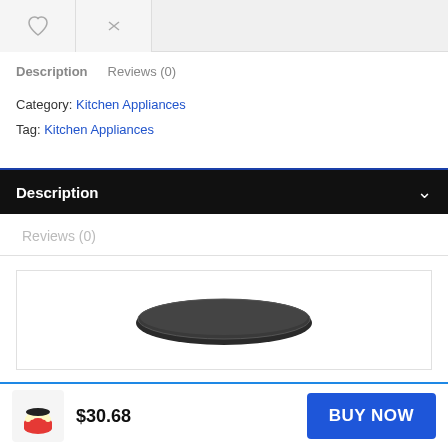[Figure (screenshot): Top navigation bar with heart/wishlist icon and shuffle/compare icon buttons on light gray background]
Description   Reviews (0)
Category: Kitchen Appliances
Tag: Kitchen Appliances
Description
Reviews (0)
[Figure (photo): Product image showing a black oval/round lid of a popcorn maker on white background]
$30.68
BUY NOW